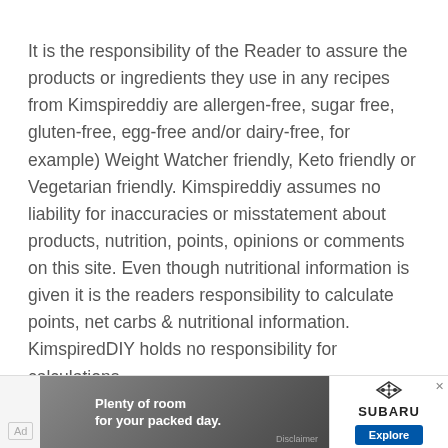It is the responsibility of the Reader to assure the products or ingredients they use in any recipes from Kimspireddiy are allergen-free, sugar free, gluten-free, egg-free and/or dairy-free, for example) Weight Watcher friendly, Keto friendly or Vegetarian friendly. Kimspireddiy assumes no liability for inaccuracies or misstatement about products, nutrition, points, opinions or comments on this site. Even though nutritional information is given it is the readers responsibility to calculate points, net carbs & nutritional information. KimspiredDIY holds no responsibility for calculations.
[Figure (other): Advertisement banner for Subaru showing car interior with text 'Plenty of room for your packed day.' and an Explore button]